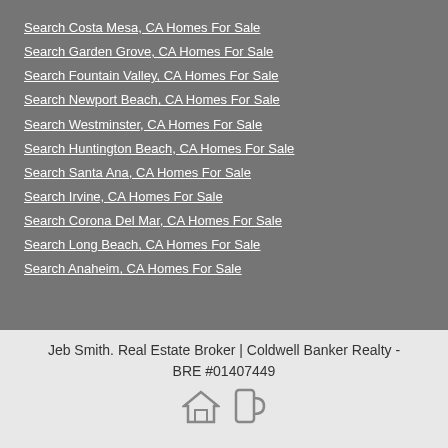Search Costa Mesa, CA Homes For Sale
Search Garden Grove, CA Homes For Sale
Search Fountain Valley, CA Homes For Sale
Search Newport Beach, CA Homes For Sale
Search Westminster, CA Homes For Sale
Search Huntington Beach, CA Homes For Sale
Search Santa Ana, CA Homes For Sale
Search Irvine, CA Homes For Sale
Search Corona Del Mar, CA Homes For Sale
Search Long Beach, CA Homes For Sale
Search Anaheim, CA Homes For Sale
Jeb Smith. Real Estate Broker | Coldwell Banker Realty - BRE #01407449